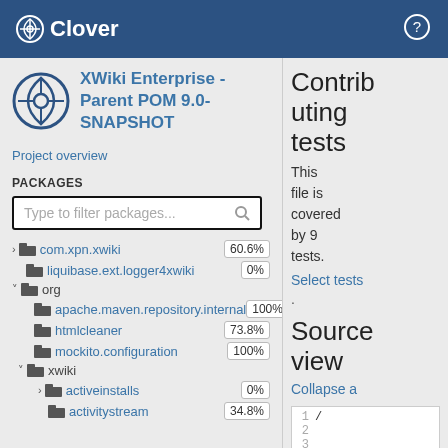Clover
XWiki Enterprise - Parent POM 9.0-SNAPSHOT
Project overview
PACKAGES
Type to filter packages...
> com.xpn.xwiki 60.6%
liquibase.ext.logger4xwiki 0%
v org
apache.maven.repository.internal 100%
htmlcleaner 73.8%
mockito.configuration 100%
v xwiki
> activeinstalls 0%
activitystream 34.8%
Contributing tests This file is covered by 9 tests. Select tests. Source view Collapse a
[Figure (screenshot): Source code view showing line numbers 1-4]